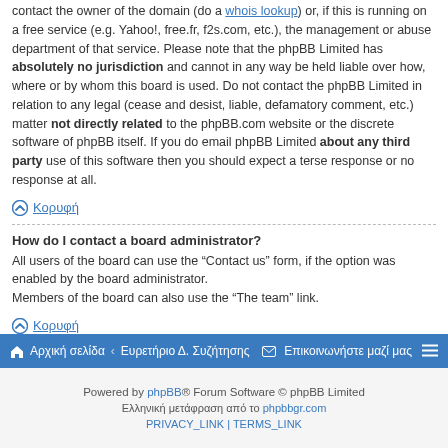contact the owner of the domain (do a whois lookup) or, if this is running on a free service (e.g. Yahoo!, free.fr, f2s.com, etc.), the management or abuse department of that service. Please note that the phpBB Limited has absolutely no jurisdiction and cannot in any way be held liable over how, where or by whom this board is used. Do not contact the phpBB Limited in relation to any legal (cease and desist, liable, defamatory comment, etc.) matter not directly related to the phpBB.com website or the discrete software of phpBB itself. If you do email phpBB Limited about any third party use of this software then you should expect a terse response or no response at all.
Κορυφή
How do I contact a board administrator?
All users of the board can use the “Contact us” form, if the option was enabled by the board administrator.
Members of the board can also use the “The team” link.
Κορυφή
Αρχική σελίδα · Ευρετήριο Δ. Συζήτησης  Επικοινωνήστε μαζί μας
Powered by phpBB® Forum Software © phpBB Limited
Ελληνική μετάφραση από το phpbbgr.com
PRIVACY_LINK | TERMS_LINK